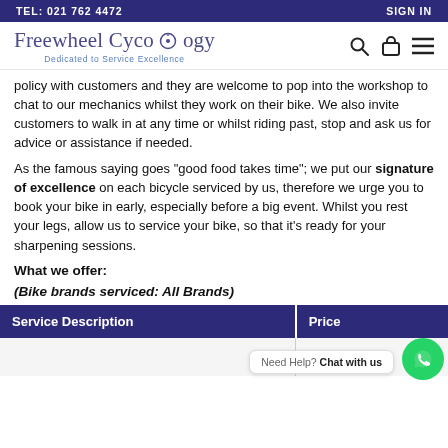TEL: 021 762 4472   SIGN IN
[Figure (logo): Freewheel Cycology logo with tagline 'Dedicated to Service Excellence' and navigation icons]
policy with customers and they are welcome to pop into the workshop to chat to our mechanics whilst they work on their bike. We also invite customers to walk in at any time or whilst riding past, stop and ask us for advice or assistance if needed.
As the famous saying goes "good food takes time"; we put our signature of excellence on each bicycle serviced by us, therefore we urge you to book your bike in early, especially before a big event. Whilst you rest your legs, allow us to service your bike, so that it's ready for your sharpening sessions.
What we offer:
(Bike brands serviced: All Brands)
| Service Description | Price |
| --- | --- |
|  |  |